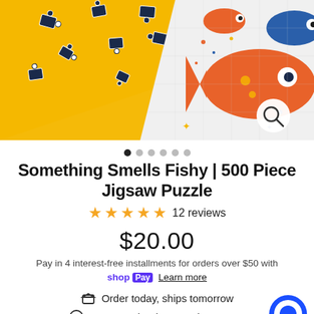[Figure (photo): Product image of a jigsaw puzzle on yellow background with colorful fish illustrations. Puzzle pieces scattered on yellow background with completed puzzle artwork showing fish and rockets visible on right side. Search magnifier icon in bottom right corner.]
● ○ ○ ○ ○ ○
Something Smells Fishy | 500 Piece Jigsaw Puzzle
★★★★★ 12 reviews
$20.00
Pay in 4 interest-free installments for orders over $50 with shop Pay Learn more
Order today, ships tomorrow
Free Puzzle Piece Replacements